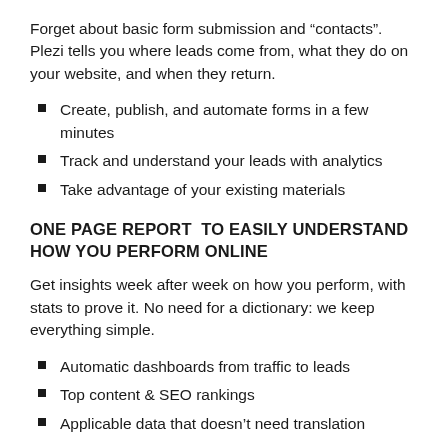Forget about basic form submission and “contacts”. Plezi tells you where leads come from, what they do on your website, and when they return.
Create, publish, and automate forms in a few minutes
Track and understand your leads with analytics
Take advantage of your existing materials
ONE PAGE REPORT  TO EASILY UNDERSTAND HOW YOU PERFORM ONLINE
Get insights week after week on how you perform, with stats to prove it. No need for a dictionary: we keep everything simple.
Automatic dashboards from traffic to leads
Top content & SEO rankings
Applicable data that doesn’t need translation